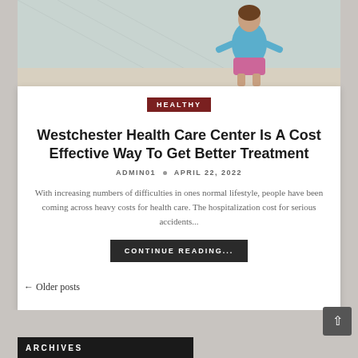[Figure (photo): Partial view of a woman in athletic wear (blue top, pink/purple shorts) from behind, standing outdoors near a bridge]
HEALTHY
Westchester Health Care Center Is A Cost Effective Way To Get Better Treatment
ADMIN01 • APRIL 22, 2022
With increasing numbers of difficulties in ones normal lifestyle, people have been coming across heavy costs for health care. The hospitalization cost for serious accidents...
CONTINUE READING...
← Older posts
ARCHIVES